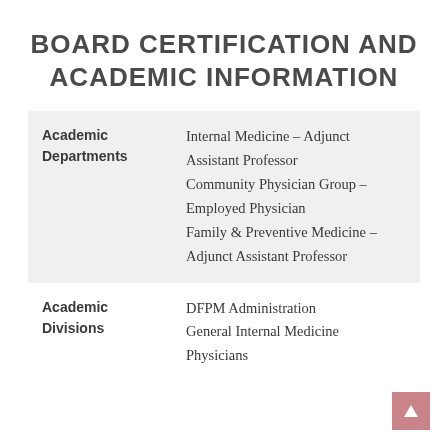BOARD CERTIFICATION AND ACADEMIC INFORMATION
|  |  |
| --- | --- |
| Academic Departments | Internal Medicine – Adjunct Assistant Professor
Community Physician Group – Employed Physician
Family & Preventive Medicine – Adjunct Assistant Professor |
| Academic Divisions | DFPM Administration
General Internal Medicine Physicians |